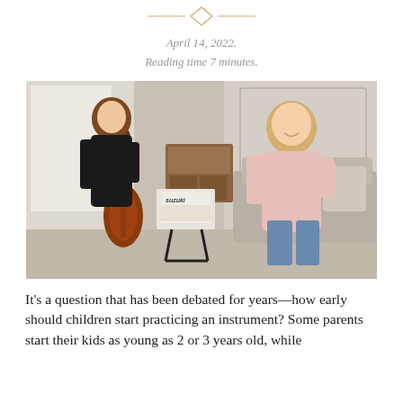[Figure (other): Decorative diamond/rhombus ornament with horizontal lines on each side, gold/tan color]
April 14, 2022.
Reading time 7 minutes.
[Figure (photo): A young girl playing cello while a woman (likely her mother) sits on a couch beside her looking at sheet music on a music stand with a Suzuki book. They are in a bright, modern living room.]
It's a question that has been debated for years—how early should children start practicing an instrument? Some parents start their kids as young as 2 or 3 years old, while